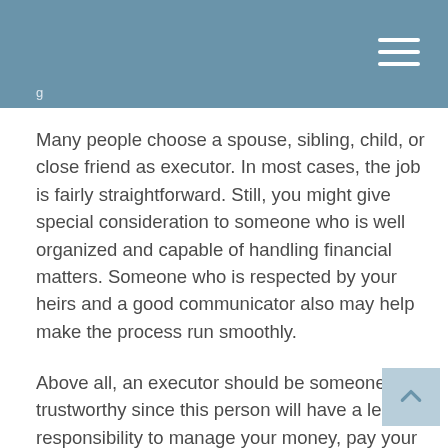Many people choose a spouse, sibling, child, or close friend as executor. In most cases, the job is fairly straightforward. Still, you might give special consideration to someone who is well organized and capable of handling financial matters. Someone who is respected by your heirs and a good communicator also may help make the process run smoothly.
Above all, an executor should be someone trustworthy since this person will have a legal responsibility to manage your money, pay your debts (including taxes), and distribute your assets to your beneficiaries as stated in your will.
If your estate is large or you anticipate a significant amount of court time for your executor, you might think of naming a